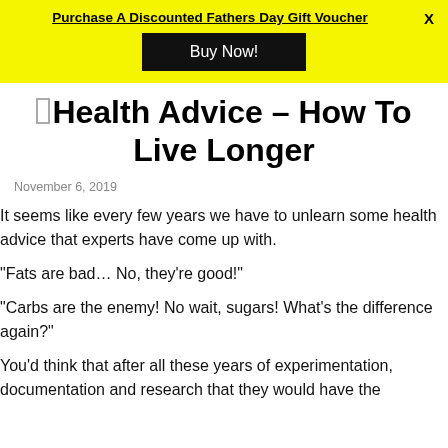Purchase A Discounted Fathers Day Gift Voucher  Buy Now!  X
Health Advice – How To Live Longer
November 6, 2019
It seems like every few years we have to unlearn some health advice that experts have come up with.
“Fats are bad… No, they’re good!”
“Carbs are the enemy! No wait, sugars! What’s the difference again?”
You’d think that after all these years of experimentation, documentation and research that they would have the answers by now. But it seems every…